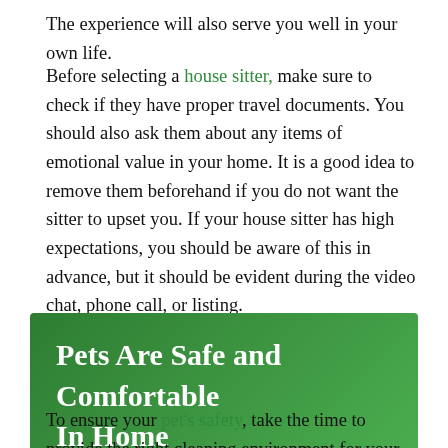The experience will also serve you well in your own life.
Before selecting a house sitter, make sure to check if they have proper travel documents. You should also ask them about any items of emotional value in your home. It is a good idea to remove them beforehand if you do not want the sitter to upset you. If your house sitter has high expectations, you should be aware of this in advance, but it should be evident during the video chat, phone call, or listing.
Pets Are Safe and Comfortable In Home
To ensure your pet's safety, take the time to provide the right cleaning environment for your pet. It should have